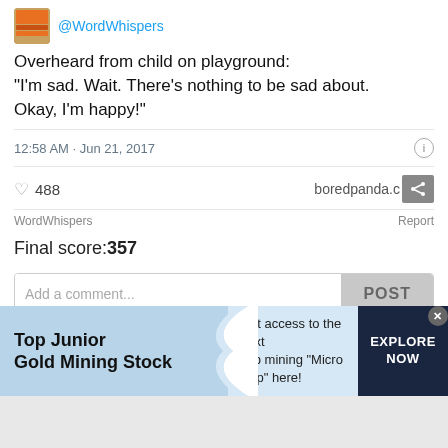@WordWhispers
Overheard from child on playground: "I'm sad. Wait. There's nothing to be sad about. Okay, I'm happy!"
12:58 AM · Jun 21, 2017
488
boredpanda.com
WordWhispers
Report
Final score:357
Add a comment...
POST
Ella Adams 8 months ago
I wish I could do that.
▲ 150 ▼ Reply
[Figure (screenshot): Ad banner: Top Junior Gold Mining Stock — Get access to the next Top mining "Micro Cap" here! — EXPLORE NOW]